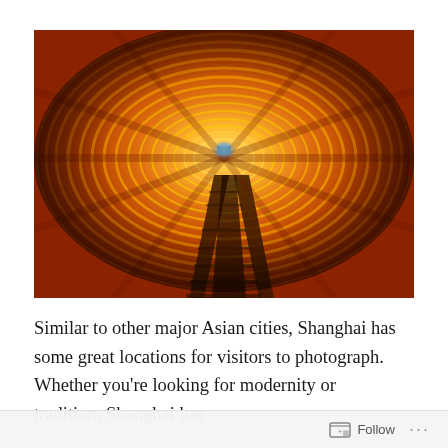[Figure (photo): A photograph looking down a glowing illuminated tunnel with railway tracks. The tunnel has concentric circular rings lit in orange, red, and gold tones with motion blur effect creating a psychedelic swirling pattern. A small blue light is visible at the far end of the tunnel.]
Similar to other major Asian cities, Shanghai has some great locations for visitors to photograph. Whether you're looking for modernity or tradition, Shanghai has
Follow ...